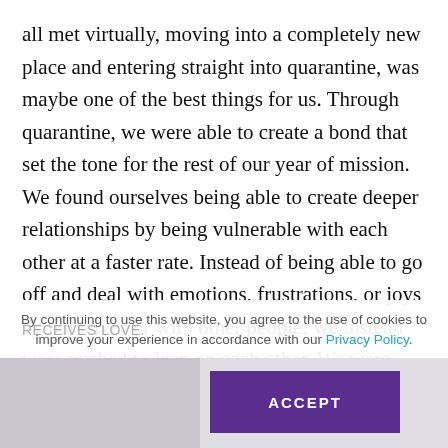all met virtually, moving into a completely new place and entering straight into quarantine, was maybe one of the best things for us. Through quarantine, we were able to create a bond that set the tone for the rest of our year of mission. We found ourselves being able to create deeper relationships by being vulnerable with each other at a faster rate. Instead of being able to go off and deal with emotions, frustrations, or joys by ourselves or with other people; we instead were pushed to lean on each other. We were able to celebrate with each other and learn how the other receives love.
By continuing to use this website, you agree to the use of cookies to improve your experience in accordance with our Privacy Policy.
[Figure (screenshot): Partially visible screenshot at the bottom of the page with an ACCEPT button overlay for cookie consent]